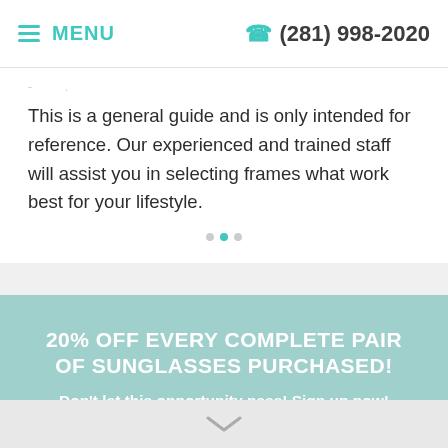MENU  (281) 998-2020
This is a general guide and is only intended for reference. Our experienced and trained staff will assist you in selecting frames what work best for your lifestyle.
20% OFF EVERY COMPLETE PAIR OF SUNGLASSES PURCHASED! Don't let this opportunity pass! Sign up now!